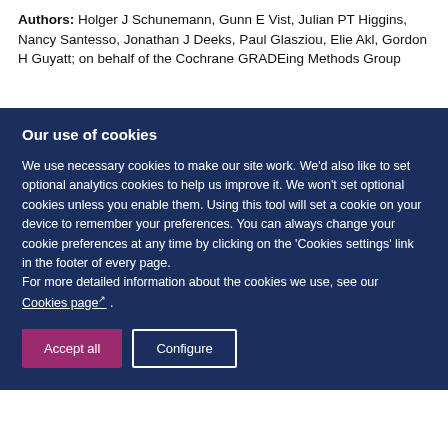Authors: Holger J Schunemann, Gunn E Vist, Julian PT Higgins, Nancy Santesso, Jonathan J Deeks, Paul Glasziou, Elie Akl, Gordon H Guyatt; on behalf of the Cochrane GRADEing Methods Group
Our use of cookies
We use necessary cookies to make our site work. We'd also like to set optional analytics cookies to help us improve it. We won't set optional cookies unless you enable them. Using this tool will set a cookie on your device to remember your preferences. You can always change your cookie preferences at any time by clicking on the 'Cookies settings' link in the footer of every page.
For more detailed information about the cookies we use, see our Cookies page .